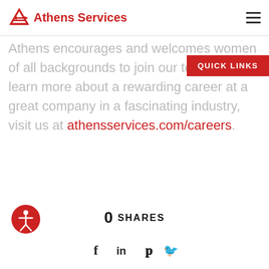Athens Services
Athens encourages and welcomes women of all backgrounds to join our team. To learn more about a rewarding career at a great company in a fascinating industry, visit us at athensservices.com/careers.
QUICK LINKS
0 SHARES
[Figure (other): Social media share icons: Facebook (f), LinkedIn (in), Pinterest (p), Twitter bird]
[Figure (other): Accessibility icon - circular red button with person/human figure symbol]